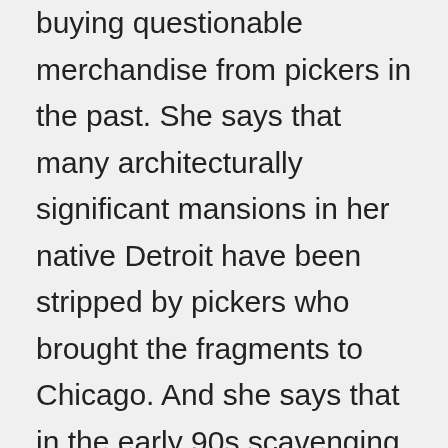buying questionable merchandise from pickers in the past. She says that many architecturally significant mansions in her native Detroit have been stripped by pickers who brought the fragments to Chicago. And she says that in the early 90s scavenging became so extensive at the Uptown Theatre, now a landmark, that eventually the FBI began working with the owner and local preservationists to stanch the flow of fixtures from the building. “Most dealers, in my opinion, are savvy enough to know if they’re being offered something that has no business being offered to them,” says Salvage One’s Beau Kimball. “And it's just a matter of whether they have the self-control to avoid it.” He